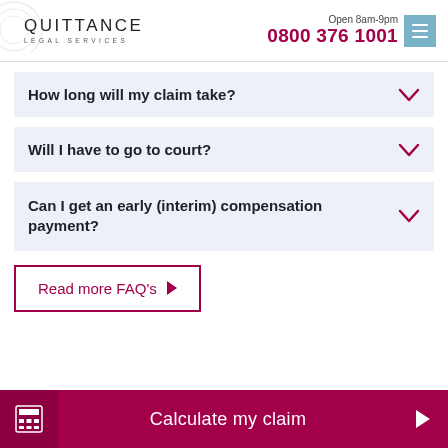QUITTANCE LEGAL SERVICES — Open 8am-9pm 0800 376 1001
How long will my claim take?
Will I have to go to court?
Can I get an early (interim) compensation payment?
Read more FAQ's ▶
Calculate my claim ▶